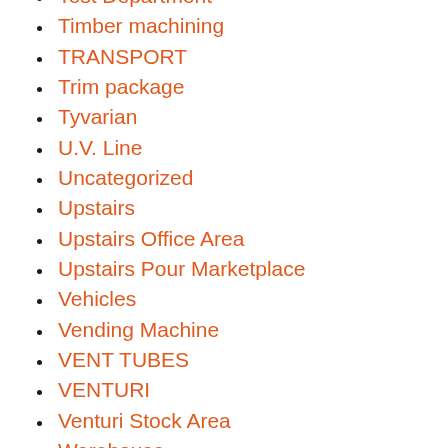Test Department
Timber machining
TRANSPORT
Trim package
Tyvarian
U.V. Line
Uncategorized
Upstairs
Upstairs Office Area
Upstairs Pour Marketplace
Vehicles
Vending Machine
VENT TUBES
VENTURI
Venturi Stock Area
Warehouse
Warehouse Supplies
Warwick CA